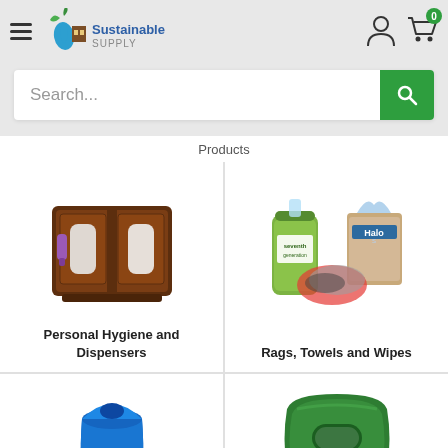Sustainable Supply
Search...
Products
[Figure (photo): Personal hygiene dispenser station - dark wood cabinet with soap dispenser and paper towel dispensers]
Personal Hygiene and Dispensers
[Figure (photo): Rags, towels and wipes products - Seventh Generation cleaning wipes canister, Georgia-Pacific Halo paper towels box, and various cleaning rags]
Rags, Towels and Wipes
[Figure (photo): Blue recycling bin with dome lid and recycling symbol]
[Figure (photo): Green recycling container lid with handle opening]